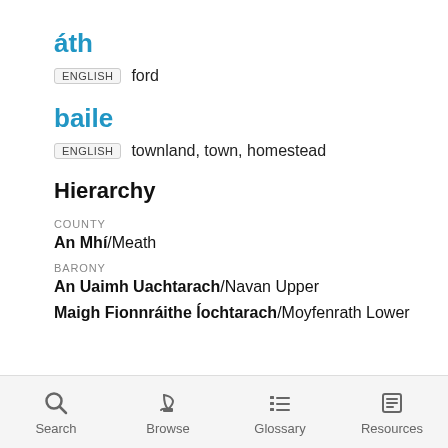áth
ENGLISH   ford
baile
ENGLISH   townland, town, homestead
Hierarchy
COUNTY
An Mhí/Meath
BARONY
An Uaimh Uachtarach/Navan Upper
Maigh Fionnráithe Íochtarach/Moyfenrath Lower
Search   Browse   Glossary   Resources